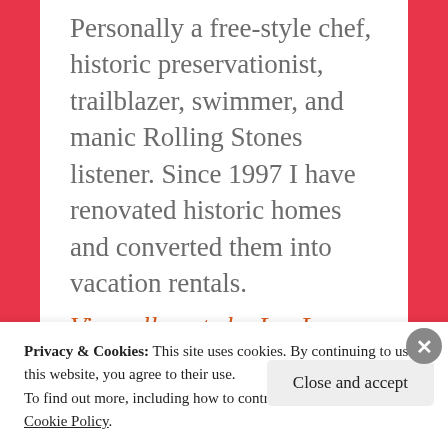Personally a free-style chef, historic preservationist, trailblazer, swimmer, and manic Rolling Stones listener. Since 1997 I have renovated historic homes and converted them into vacation rentals.
View all posts by LouLou
Privacy & Cookies: This site uses cookies. By continuing to use this website, you agree to their use.
To find out more, including how to control cookies, see here: Cookie Policy
Close and accept